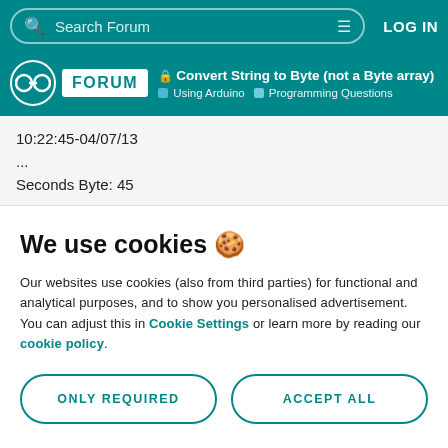Search Forum | LOG IN
Convert String to Byte (not a Byte array) | Using Arduino > Programming Questions
10:22:45-04/07/13
...
Seconds Byte: 45
We use cookies 🍪
Our websites use cookies (also from third parties) for functional and analytical purposes, and to show you personalised advertisement. You can adjust this in Cookie Settings or learn more by reading our cookie policy.
ONLY REQUIRED | ACCEPT ALL